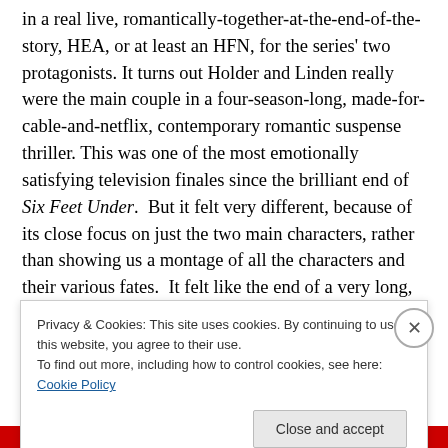in a real live, romantically-together-at-the-end-of-the-story, HEA, or at least an HFN, for the series' two protagonists. It turns out Holder and Linden really were the main couple in a four-season-long, made-for-cable-and-netflix, contemporary romantic suspense thriller. This was one of the most emotionally satisfying television finales since the brilliant end of Six Feet Under.  But it felt very different, because of its close focus on just the two main characters, rather than showing us a montage of all the characters and their various fates.  It felt like the end of a very long, very suspenseful, almost-DNF'd-when-it
Privacy & Cookies: This site uses cookies. By continuing to use this website, you agree to their use.
To find out more, including how to control cookies, see here: Cookie Policy